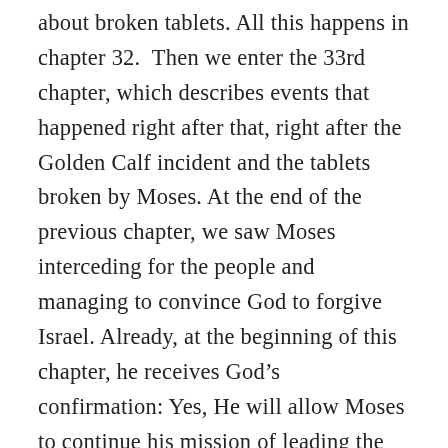about broken tablets. All this happens in chapter 32.  Then we enter the 33rd chapter, which describes events that happened right after that, right after the Golden Calf incident and the tablets broken by Moses. At the end of the previous chapter, we saw Moses interceding for the people and managing to convince God to forgive Israel. Already, at the beginning of this chapter, he receives God's confirmation: Yes, He will allow Moses to continue his mission of leading the people of Israel into the Promised Land, the Land flowing with milk and honey. However, in His words we can still hear the echo of His recent wrath. While commanding Moses and Israel to depart for the Land, God says, “Go up to a land flowing with milk and honey; for I will not go up in your midst, lest I consume you on